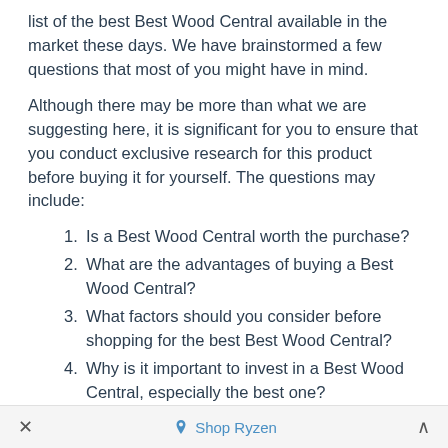list of the best Best Wood Central available in the market these days. We have brainstormed a few questions that most of you might have in mind.
Although there may be more than what we are suggesting here, it is significant for you to ensure that you conduct exclusive research for this product before buying it for yourself. The questions may include:
Is a Best Wood Central worth the purchase?
What are the advantages of buying a Best Wood Central?
What factors should you consider before shopping for the best Best Wood Central?
Why is it important to invest in a Best Wood Central, especially the best one?
What are the good Best Wood Central
× Shop Ryzen ∧